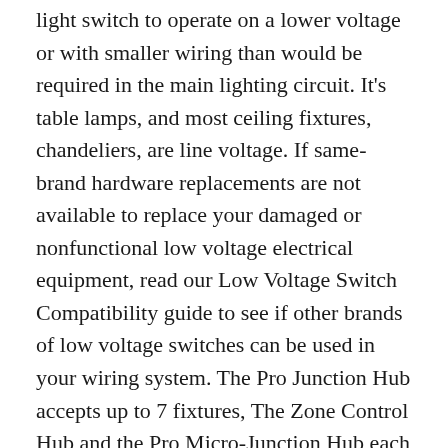light switch to operate on a lower voltage or with smaller wiring than would be required in the main lighting circuit. It's table lamps, and most ceiling fixtures, chandeliers, are line voltage. If same-brand hardware replacements are not available to replace your damaged or nonfunctional low voltage electrical equipment, read our Low Voltage Switch Compatibility guide to see if other brands of low voltage switches can be used in your wiring system. The Pro Junction Hub accepts up to 7 fixtures, The Zone Control Hub and the Pro Micro-Junction Hub each accepts 4 fixtures. So for energy reasons they're getting rid of it. MR16s, halogens, was kind of the ruling light source, and what's going on now is LEDs are now sort of usurping its position… The LEDs are very expensive 2018 Editor's Note: This isn't the case